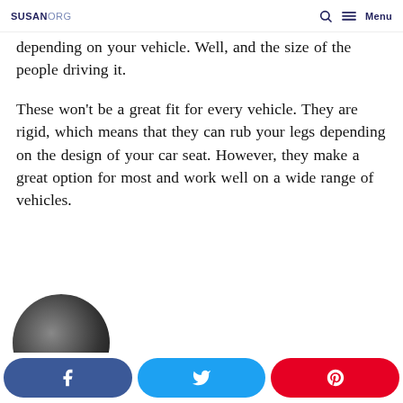SUSANORG — Menu
depending on your vehicle. Well, and the size of the people driving it.
These won't be a great fit for every vehicle. They are rigid, which means that they can rub your legs depending on the design of your car seat. However, they make a great option for most and work well on a wide range of vehicles.
[Figure (photo): Circular photo of a car interior area, partially visible at bottom left]
[Figure (infographic): Social share bar with Facebook (blue), Twitter (light blue), and Pinterest (red) buttons]